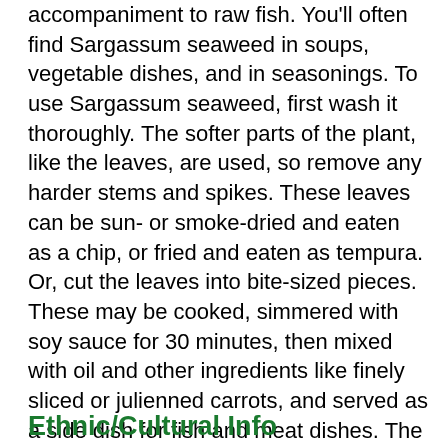accompaniment to raw fish. You'll often find Sargassum seaweed in soups, vegetable dishes, and in seasonings. To use Sargassum seaweed, first wash it thoroughly. The softer parts of the plant, like the leaves, are used, so remove any harder stems and spikes. These leaves can be sun- or smoke-dried and eaten as a chip, or fried and eaten as tempura. Or, cut the leaves into bite-sized pieces. These may be cooked, simmered with soy sauce for 30 minutes, then mixed with oil and other ingredients like finely sliced or julienned carrots, and served as a side dish for fish and meat dishes. The leaves can be mixed with salt and green onions, and used as a dumpling filling. To use in in a soup or curry, use the leafy part of the plant, whole. Cook it in water or coonut milk. Store fresh Sargassum seaweed in saltwater in a loosely covered container at room temperature, where it will last for several days.
Ethnic/Cultural Info